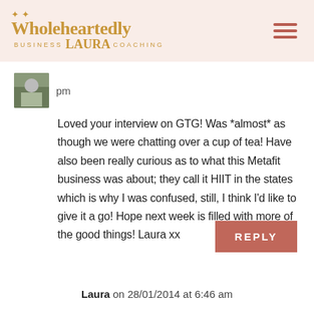[Figure (logo): Wholeheartedly Laura Business Coaching logo with sparkle decorations in gold/brown color]
pm
Loved your interview on GTG! Was *almost* as though we were chatting over a cup of tea! Have also been really curious as to what this Metafit business was about; they call it HIIT in the states which is why I was confused, still, I think I'd like to give it a go! Hope next week is filled with more of the good things! Laura xx
REPLY
Laura on 28/01/2014 at 6:46 am